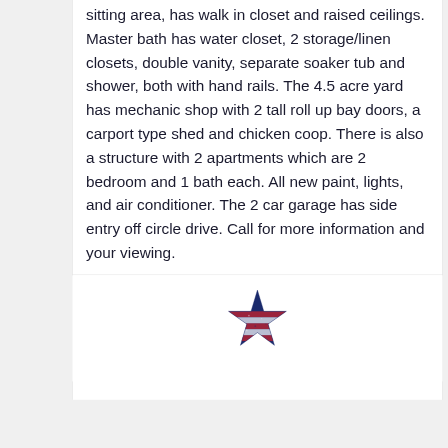sitting area, has walk in closet and raised ceilings. Master bath has water closet, 2 storage/linen closets, double vanity, separate soaker tub and shower, both with hand rails. The 4.5 acre yard has mechanic shop with 2 tall roll up bay doors, a carport type shed and chicken coop. There is also a structure with 2 apartments which are 2 bedroom and 1 bath each. All new paint, lights, and air conditioner. The 2 car garage has side entry off circle drive. Call for more information and your viewing.
[Figure (logo): Star-shaped logo with red, white, and blue American flag design]